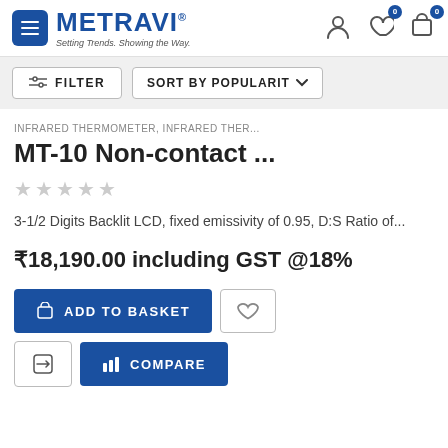METRAVI® – Setting Trends. Showing the Way.
FILTER  SORT BY POPULARITY
INFRARED THERMOMETER, INFRARED THER...
MT-10 Non-contact ...
3-1/2 Digits Backlit LCD, fixed emissivity of 0.95, D:S Ratio of...
₹18,190.00 including GST @18%
ADD TO BASKET
COMPARE